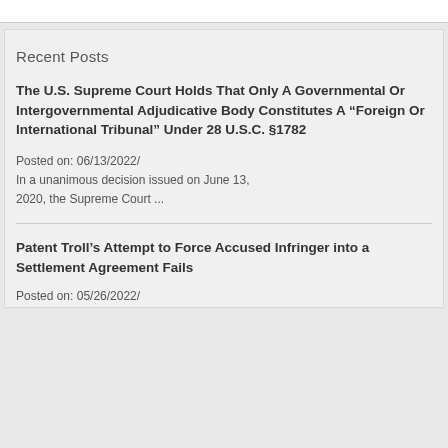Recent Posts
The U.S. Supreme Court Holds That Only A Governmental Or Intergovernmental Adjudicative Body Constitutes A “Foreign Or International Tribunal” Under 28 U.S.C. §1782
Posted on: 06/13/2022/
In a unanimous decision issued on June 13, 2020, the Supreme Court ...
Patent Troll’s Attempt to Force Accused Infringer into a Settlement Agreement Fails
Posted on: 05/26/2022/